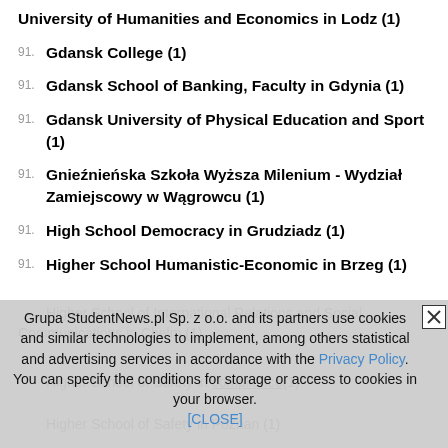University of Humanities and Economics in Lodz (1)
91. Gdansk College (1)
91. Gdansk School of Banking, Faculty in Gdynia (1)
91. Gdansk University of Physical Education and Sport (1)
91. Gnieźnieńska Szkoła Wyższa Milenium - Wydział Zamiejscowy w Wągrowcu (1)
91. High School Democracy in Grudziadz (1)
91. Higher School Humanistic-Economic in Brzeg (1)
Higher School of International Relations and Social Communications in Chelm (1)
Grupa StudentNews.pl Sp. z o.o. and its partners use cookies and similar technologies to implement, among others statistical and advertising services in accordance with the Privacy Policy. You can specify the conditions for storage or access to cookies in your browser. [CLOSE]
Higher School of Safety in compliance (1)
Higher School of Safety in Poznan (1)